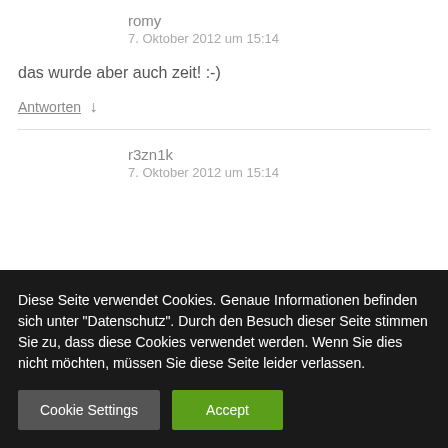romy
7. Oktober 2012 um 15:14
das wurde aber auch zeit! :-)
Antworten ↓
r3zn1k
7. Oktober 2012 um 15:14
Diese Seite verwendet Cookies. Genaue Informationen befinden sich unter "Datenschutz". Durch den Besuch dieser Seite stimmen Sie zu, dass diese Cookies verwendet werden. Wenn Sie dies nicht möchten, müssen Sie diese Seite leider verlassen.